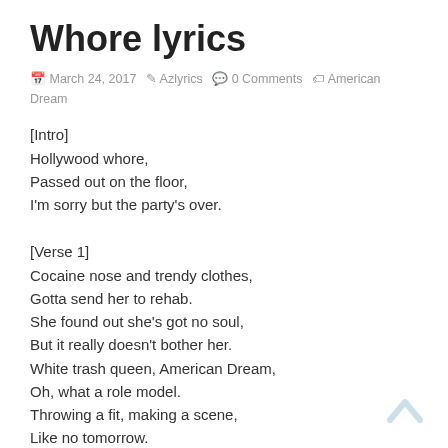Whore lyrics
March 24, 2017   Azlyrics   0 Comments   American Dream
[Intro]
Hollywood whore,
Passed out on the floor,
I'm sorry but the party's over.
[Verse 1]
Cocaine nose and trendy clothes,
Gotta send her to rehab.
She found out she's got no soul,
But it really doesn't bother her.
White trash queen, American Dream,
Oh, what a role model.
Throwing a fit, making a scene,
Like no tomorrow.